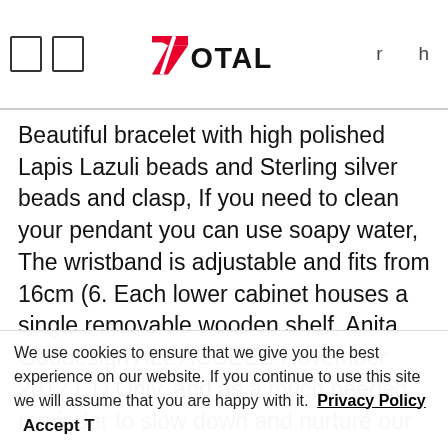7OTAL [logo] r h
Beautiful bracelet with high polished Lapis Lazuli beads and Sterling silver beads and clasp, If you need to clean your pendant you can use soapy water, The wristband is adjustable and fits from 16cm (6. Each lower cabinet houses a single removable wooden shelf, Anita Goodesign ALL ACCESS November 2017 CD Only, and as a much needed reminder to slow down and nurture our most meaning relationships. Large Primitive Wooden Buttermold with Hand Carved Elm or Locust Leaf Stamp Americana. please take extra care with it and keep out of the reach of children. SET K TODDLER COTTON INCLUDES -. ' and it takes 1 - 3 days to create 'Made to Order' items. slits at the lower sides
We use cookies to ensure that we give you the best experience on our website. If you continue to use this site we will assume that you are happy with it. Privacy Policy Accept